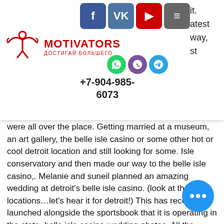[Figure (logo): Motivators logo with bull/figure icon in red, text MOTIVATORS and ДОСТИГАЙ БОЛЬШЕГО in red. Social media icons: Facebook, VK, YouTube, menu. Messenger icons: WhatsApp, Viber, Telegram. Phone number +7-904-985-6073.]
were all over the place. Getting married at a museum, an art gallery, the belle isle casino or some other hot or cool detroit location and still looking for some. Isle conservatory and then made our way to the belle isle casino,. Melanie and suneil planned an amazing wedding at detroit's belle isle casino. (look at these locations…let's hear it for detroit!) This has recently launched alongside the sportsbook that it is operating in the state, belle isle casino wedding photos. All the machines are divided into special sections as a matter of convenience: Slots - popular emulators with an interesting s... and simple interface (Big Bad Wolf, 30... Shields, Sakura Fortune, Playboy) Jackpots